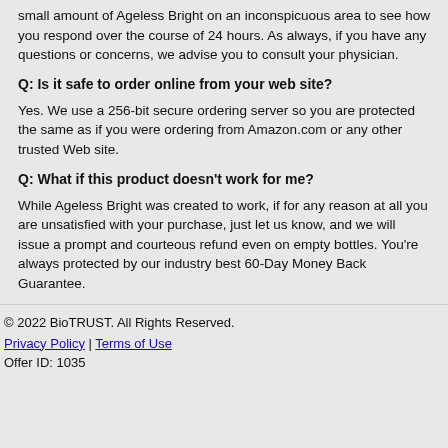small amount of Ageless Bright on an inconspicuous area to see how you respond over the course of 24 hours. As always, if you have any questions or concerns, we advise you to consult your physician.
Q: Is it safe to order online from your web site?
Yes. We use a 256-bit secure ordering server so you are protected the same as if you were ordering from Amazon.com or any other trusted Web site.
Q: What if this product doesn’t work for me?
While Ageless Bright was created to work, if for any reason at all you are unsatisfied with your purchase, just let us know, and we will issue a prompt and courteous refund even on empty bottles. You're always protected by our industry best 60-Day Money Back Guarantee.
© 2022 BioTRUST. All Rights Reserved.
Privacy Policy | Terms of Use
Offer ID: 1035